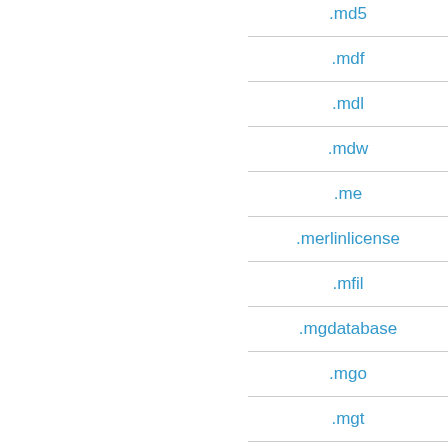.md5
.mdf
.mdl
.mdw
.me
.merlinlicense
.mfil
.mgdatabase
.mgo
.mgt
.mif